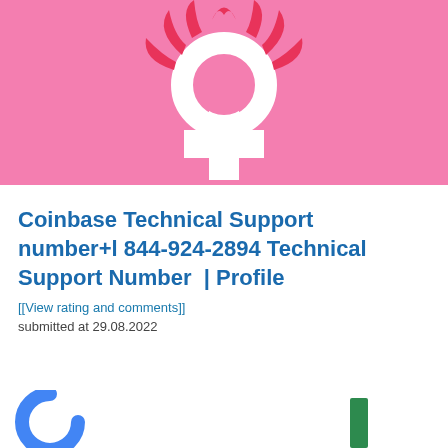[Figure (illustration): Pink banner with a white female/Venus symbol (cross with circle top and decorative flame-like elements) on a bright pink background]
Coinbase Technical Support number+1 844-924-2894 Technical Support Number  | Profile
[[View rating and comments]]
submitted at 29.08.2022
[Figure (logo): Partial blue circular arc logo (Google or similar) at bottom left, and a green vertical bar logo element at bottom right]